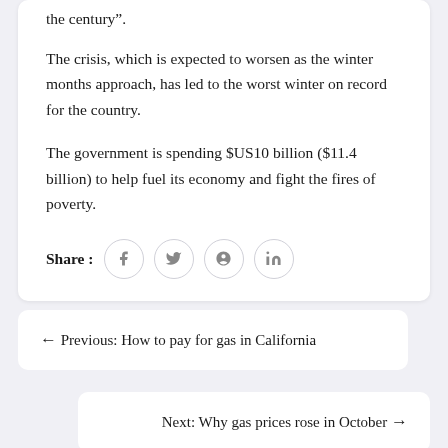the century".
The crisis, which is expected to worsen as the winter months approach, has led to the worst winter on record for the country.
The government is spending $US10 billion ($11.4 billion) to help fuel its economy and fight the fires of poverty.
Share :
← Previous: How to pay for gas in California
Next: Why gas prices rose in October →